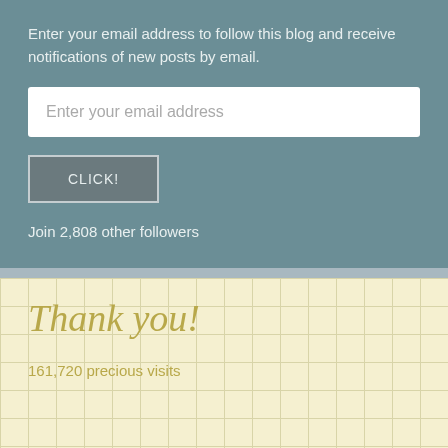Enter your email address to follow this blog and receive notifications of new posts by email.
Enter your email address
CLICK!
Join 2,808 other followers
Thank you!
161,720 precious visits